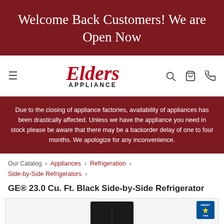Welcome Back Customers! We are Open Now
[Figure (logo): Elders Appliance logo with hamburger menu, search, cart, and phone icons in navigation bar]
Due to the closing of appliance factories, availability of appliances has been drastically affected. Unless we have the appliance you need in stock please be aware that there may be a backorder delay of one to four months. We apologize for any inconvenience.
Our Catalog › Appliances › Refrigeration › Side-by-Side Refrigerators ›
GE® 23.0 Cu. Ft. Black Side-by-Side Refrigerator
[Figure (photo): Black GE side-by-side refrigerator product image with Energy Star badge in top right corner]